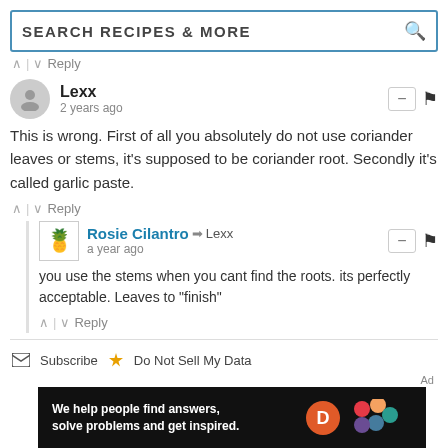SEARCH RECIPES & MORE
^ | v Reply
Lexx
2 years ago
This is wrong. First of all you absolutely do not use coriander leaves or stems, it's supposed to be coriander root. Secondly it's called garlic paste.
^ | v Reply
Rosie Cilantro → Lexx
a year ago
you use the stems when you cant find the roots. its perfectly acceptable. Leaves to "finish"
^ | v Reply
Subscribe  Do Not Sell My Data
[Figure (screenshot): Dotdash Meredith ad banner: 'We help people find answers, solve problems and get inspired.']